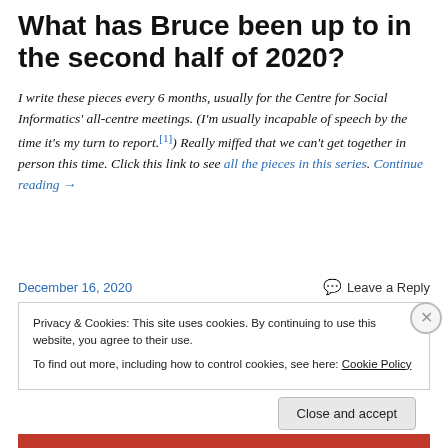What has Bruce been up to in the second half of 2020?
I write these pieces every 6 months, usually for the Centre for Social Informatics' all-centre meetings. (I'm usually incapable of speech by the time it's my turn to report.[1]) Really miffed that we can't get together in person this time. Click this link to see all the pieces in this series. Continue reading →
December 16, 2020
Leave a Reply
Privacy & Cookies: This site uses cookies. By continuing to use this website, you agree to their use.
To find out more, including how to control cookies, see here: Cookie Policy
Close and accept